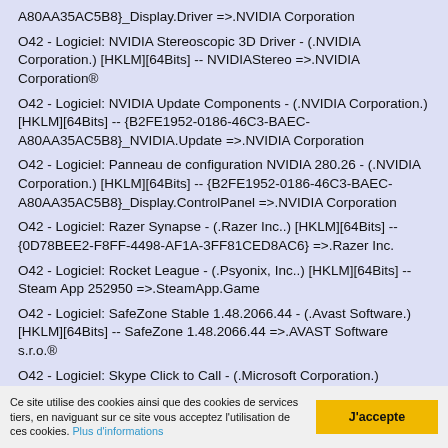A80AA35AC5B8}_Display.Driver =>.NVIDIA Corporation
O42 - Logiciel: NVIDIA Stereoscopic 3D Driver - (.NVIDIA Corporation.) [HKLM][64Bits] -- NVIDIAStereo =>.NVIDIA Corporation®
O42 - Logiciel: NVIDIA Update Components - (.NVIDIA Corporation.) [HKLM][64Bits] -- {B2FE1952-0186-46C3-BAEC-A80AA35AC5B8}_NVIDIA.Update =>.NVIDIA Corporation
O42 - Logiciel: Panneau de configuration NVIDIA 280.26 - (.NVIDIA Corporation.) [HKLM][64Bits] -- {B2FE1952-0186-46C3-BAEC-A80AA35AC5B8}_Display.ControlPanel =>.NVIDIA Corporation
O42 - Logiciel: Razer Synapse - (.Razer Inc..) [HKLM][64Bits] -- {0D78BEE2-F8FF-4498-AF1A-3FF81CED8AC6} =>.Razer Inc.
O42 - Logiciel: Rocket League - (.Psyonix, Inc..) [HKLM][64Bits] -- Steam App 252950 =>.SteamApp.Game
O42 - Logiciel: SafeZone Stable 1.48.2066.44 - (.Avast Software.) [HKLM][64Bits] -- SafeZone 1.48.2066.44 =>.AVAST Software s.r.o.®
O42 - Logiciel: Skype Click to Call - (.Microsoft Corporation.)
Ce site utilise des cookies ainsi que des cookies de services tiers, en naviguant sur ce site vous acceptez l'utilisation de ces cookies. Plus d'informations